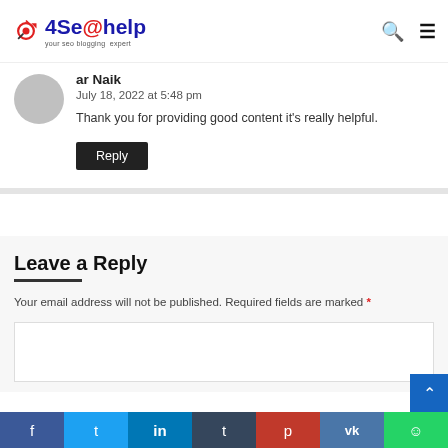4Seohelp — your seo blogging expert
ar Naik
July 18, 2022 at 5:48 pm
Thank you for providing good content it's really helpful.
Reply
Leave a Reply
Your email address will not be published. Required fields are marked *